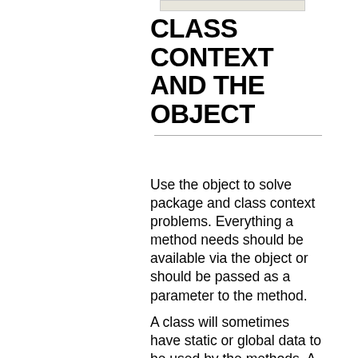[Figure (other): Small decorative top bar element, light beige/gray rectangle]
CLASS CONTEXT AND THE OBJECT
Use the object to solve package and class context problems. Everything a method needs should be available via the object or should be passed as a parameter to the method.
A class will sometimes have static or global data to be used by the methods. A subclass